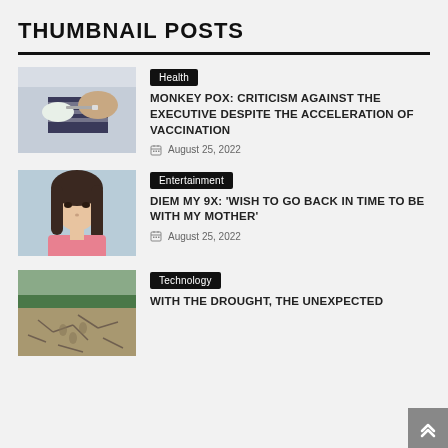THUMBNAIL POSTS
Health | MONKEY POX: CRITICISM AGAINST THE EXECUTIVE DESPITE THE ACCELERATION OF VACCINATION | August 25, 2022
Entertainment | DIEM MY 9X: 'WISH TO GO BACK IN TIME TO BE WITH MY MOTHER' | August 25, 2022
Technology | WITH THE DROUGHT, THE UNEXPECTED TRACES OF THE PAST REAPPEAR